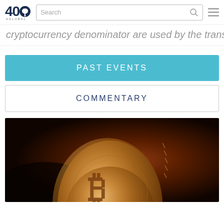40 [logo] — Search bar with hamburger menu
cryptocurrency denominator are used by the transaction
PAST EVENTS
COMMENTARY
[Figure (photo): Close-up photograph of a golden Bitcoin coin against a dark reddish-brown blurred background]